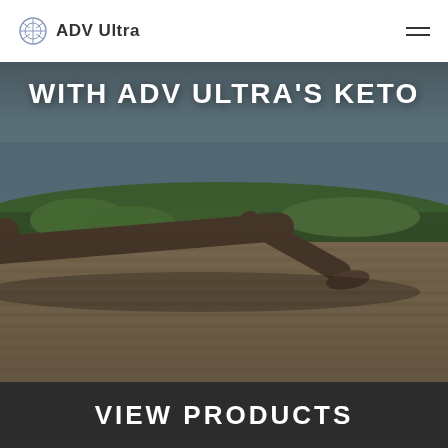ADV Ultra
[Figure (photo): Person doing a yoga plank pose on a wooden deck outdoors near water and greenery, viewed from ground level, with bold overlaid text reading WITH ADV ULTRA'S KETO]
WITH ADV ULTRA'S KETO
VIEW PRODUCTS